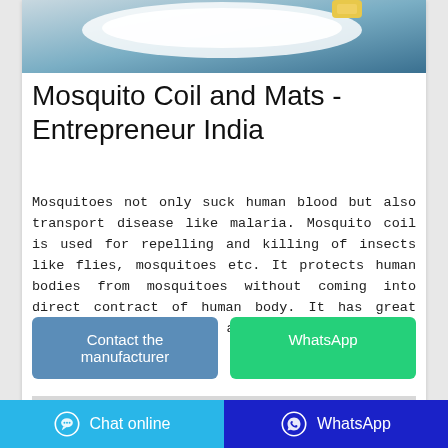[Figure (photo): Top portion of a product photo showing white mosquito coil or mat with a teal/blue background, partially cropped]
Mosquito Coil and Mats - Entrepreneur India
Mosquitoes not only suck human blood but also transport disease like malaria. Mosquito coil is used for repelling and killing of insects like flies, mosquitoes etc. It protects human bodies from mosquitoes without coming into direct contract of human body. It has great demand in India as well as outside India.
[Figure (screenshot): Bottom portion of another product image, light gray/white, partially visible]
Chat online   WhatsApp